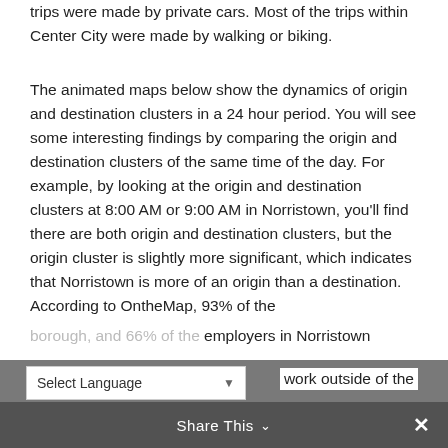trips were made by private cars. Most of the trips within Center City were made by walking or biking.
The animated maps below show the dynamics of origin and destination clusters in a 24 hour period. You will see some interesting findings by comparing the origin and destination clusters of the same time of the day. For example, by looking at the origin and destination clusters at 8:00 AM or 9:00 AM in Norristown, you'll find there are both origin and destination clusters, but the origin cluster is slightly more significant, which indicates that Norristown is more of an origin than a destination. According to OntheMap, 93% of the work outside of the borough, and 66% of the employers in Norristown